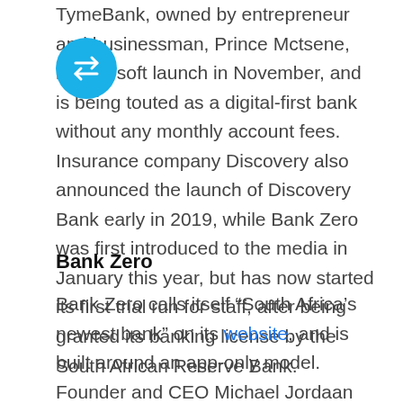TymeBank, owned by entrepreneur and businessman, Prince Mctsene, had its soft launch in November, and is being touted as a digital-first bank without any monthly account fees. Insurance company Discovery also announced the launch of Discovery Bank early in 2019, while Bank Zero was first introduced to the media in January this year, but has now started its first trial run for staff, after being granted its banking license by the South African Reserve Bank.
[Figure (logo): Circular teal/blue logo with a white currency-exchange or transfer icon]
Bank Zero
Bank Zero calls itself “South Africa’s newest bank” on its website, and is built around an app-only model. Founder and CEO Michael Jordaan spoke to Fin24 earlier this year, explaining the need for a bank that